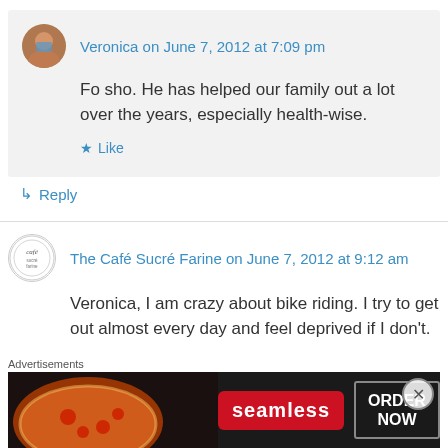Veronica on June 7, 2012 at 7:09 pm
Fo sho. He has helped our family out a lot over the years, especially health-wise.
Like
Reply
The Café Sucré Farine on June 7, 2012 at 9:12 am
Veronica, I am crazy about bike riding. I try to get out almost every day and feel deprived if I don't.
Advertisements